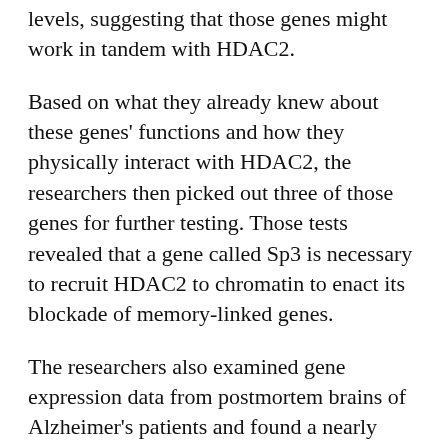levels, suggesting that those genes might work in tandem with HDAC2.
Based on what they already knew about these genes' functions and how they physically interact with HDAC2, the researchers then picked out three of those genes for further testing. Those tests revealed that a gene called Sp3 is necessary to recruit HDAC2 to chromatin to enact its blockade of memory-linked genes.
The researchers also examined gene expression data from postmortem brains of Alzheimer's patients and found a nearly perfect correlation between levels of HDAC2 and sp3.
Specific targets
The researchers then explored what would happen if they lowered Sp3 levels in a mouse